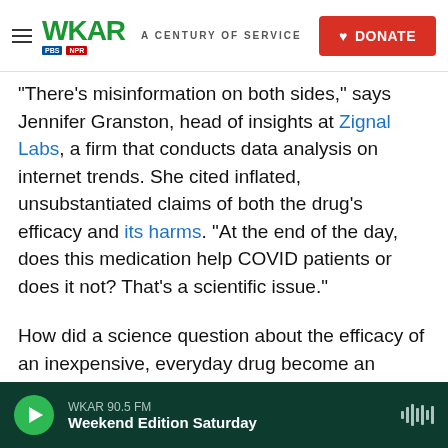WKAR A CENTURY OF SERVICE | DONATE
"There's misinformation on both sides," says Jennifer Granston, head of insights at Zignal Labs, a firm that conducts data analysis on internet trends. She cited inflated, unsubstantiated claims of both the drug's efficacy and its harms. "At the end of the day, does this medication help COVID patients or does it not? That's a scientific issue."
How did a science question about the efficacy of an inexpensive, everyday drug become an inflamed public morality debate — where people on both sides believe the wrong position could cost lives?
WKAR 90.5 FM | Weekend Edition Saturday